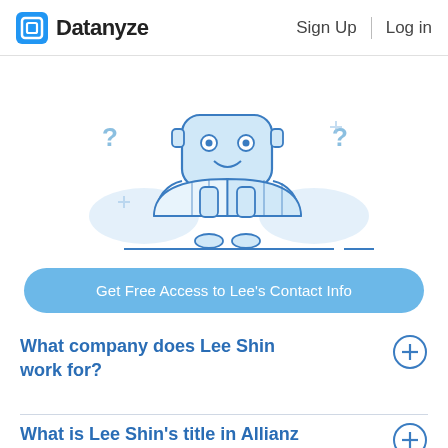Datanyze  Sign Up  Log in
[Figure (illustration): A cartoon robot or character holding and reading an open book/map, with question marks on either side, illustrated in a light blue line-art style on white background]
Get Free Access to Lee's Contact Info
What company does Lee Shin work for?
What is Lee Shin's title in Allianz